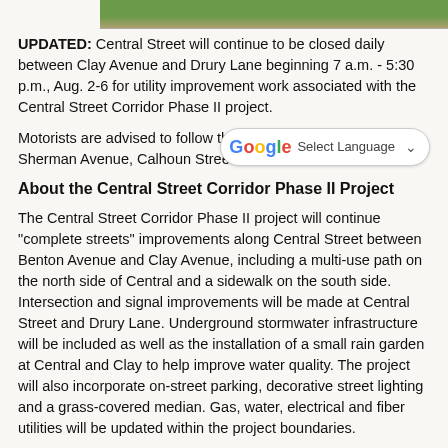[Figure (photo): Partial photo strip showing road/street with grass and pavement visible at top of page]
UPDATED: Central Street will continue to be closed daily between Clay Avenue and Drury Lane beginning 7 a.m. - 5:30 p.m., Aug. 2-6 for utility improvement work associated with the Central Street Corridor Phase II project.
Motorists are advised to follow the marked detour route via Sherman Avenue, Calhoun Street and B...
About the Central Street Corridor Phase II Project
The Central Street Corridor Phase II project will continue "complete streets" improvements along Central Street between Benton Avenue and Clay Avenue, including a multi-use path on the north side of Central and a sidewalk on the south side. Intersection and signal improvements will be made at Central Street and Drury Lane. Underground stormwater infrastructure will be included as well as the installation of a small rain garden at Central and Clay to help improve water quality. The project will also incorporate on-street parking, decorative street lighting and a grass-covered median. Gas, water, electrical and fiber utilities will be updated within the project boundaries.